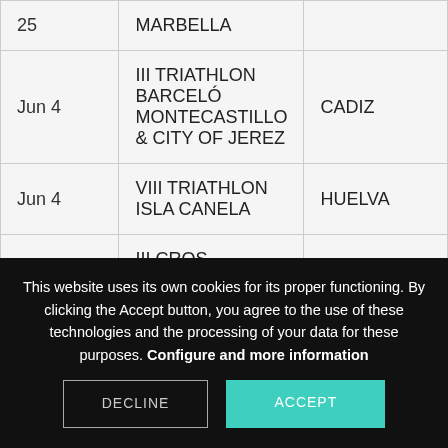| 25 | MARBELLA |  |
| Jun 4 | III TRIATHLON BARCELÓ MONTECASTILLO & CITY OF JEREZ | CADIZ |
| Jun 4 | VIII TRIATHLON ISLA CANELA | HUELVA |
| Jun 5 | III CROS CASTELL DE FERRO TRIATHLON | GRANADA |
| Jun 11 | VIII SAN ROQUE TRIATHLON | CADIZ |
This website uses its own cookies for its proper functioning. By clicking the Accept button, you agree to the use of these technologies and the processing of your data for these purposes. Configure and more information